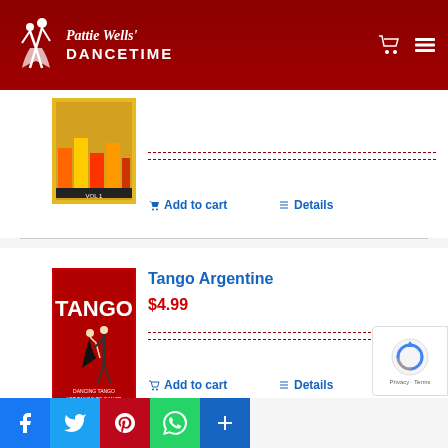Pattie Wells' DANCETIME
[Figure (photo): Partially visible DVD cover with colorful content]
Add to cart   Details
Tango Argentine
$4.99
[Figure (photo): Tango Argentine DVD cover with red background and tango dancers, text: TANGO, DANCING TANGO LET TANGO TO DANCE]
Add to cart   Details
[Figure (other): Social media sharing buttons: Facebook, Twitter, Pinterest, WhatsApp, More]